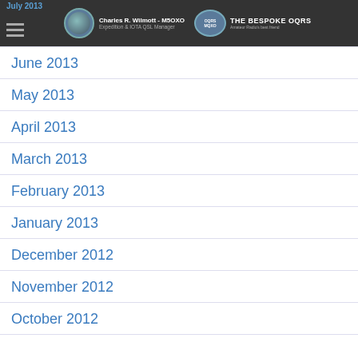Charles R. Wilmott - M5OXO | Expedition & IOTA QSL Manager | THE BESPOKE OQRS
June 2013
May 2013
April 2013
March 2013
February 2013
January 2013
December 2012
November 2012
October 2012